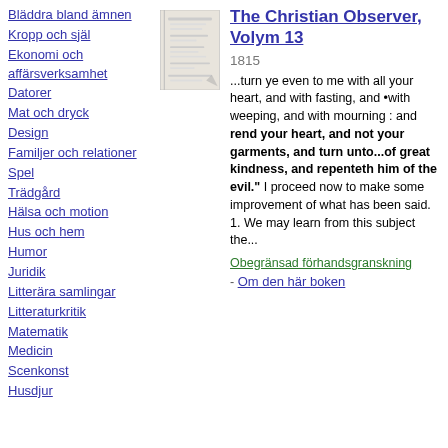Bläddra bland ämnen
Kropp och själ
Ekonomi och affärsverksamhet
Datorer
Mat och dryck
Design
Familjer och relationer
Spel
Trädgård
Hälsa och motion
Hus och hem
Humor
Juridik
Litterära samlingar
Litteraturkritik
Matematik
Medicin
Scenkonst
Husdjur
[Figure (illustration): Book cover thumbnail for The Christian Observer, Volym 13]
The Christian Observer, Volym 13
1815
...turn ye even to me with all your heart, and with fasting, and •with weeping, and with mourning : and rend your heart, and not your garments, and turn unto...of great kindness, and repenteth him of the evil." I proceed now to make some improvement of what has been said. 1. We may learn from this subject the...
Obegränsad förhandsgranskning
- Om den här boken